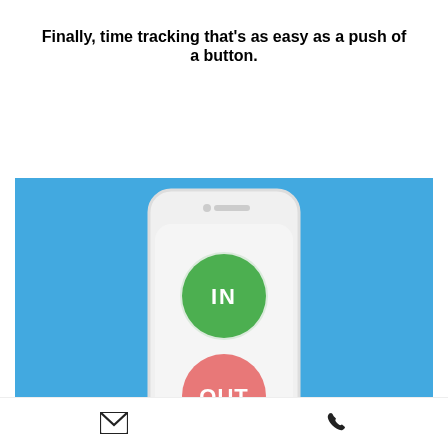Finally, time tracking that's as easy as a push of a button.
[Figure (screenshot): A smartphone app UI on a blue background showing a green IN button and a pink/red OUT button for time tracking]
Email icon and Phone icon in bottom toolbar